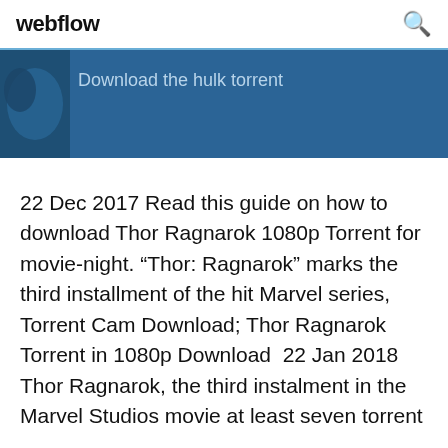webflow
Download the hulk torrent
22 Dec 2017 Read this guide on how to download Thor Ragnarok 1080p Torrent for movie-night. “Thor: Ragnarok” marks the third installment of the hit Marvel series, Torrent Cam Download; Thor Ragnarok Torrent in 1080p Download  22 Jan 2018 Thor Ragnarok, the third instalment in the Marvel Studios movie at least seven torrent